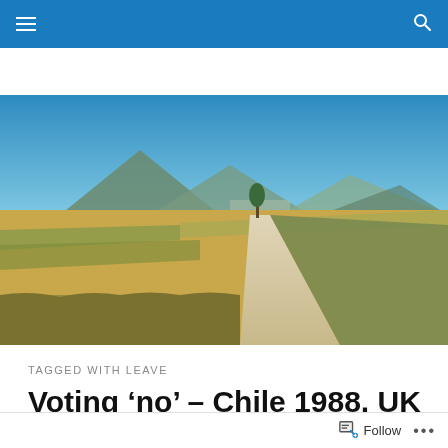≡  🔍
[Figure (photo): A dirt path road stretching into the distance through agricultural fields with mountains and a town in the background under a clear blue sky.]
TAGGED WITH LEAVE
Voting ‘no’ – Chile 1988, UK 2016
Follow  ...